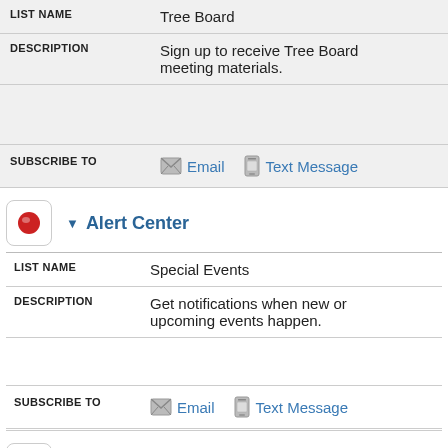| LIST NAME |  |
| --- | --- |
| LIST NAME | Tree Board |
| DESCRIPTION | Sign up to receive Tree Board meeting materials. |
| SUBSCRIBE TO | Email  Text Message |
[Figure (illustration): Red circle icon in rounded square button for Alert Center section]
▼ Alert Center
| LIST NAME |  |
| --- | --- |
| LIST NAME | Special Events |
| DESCRIPTION | Get notifications when new or upcoming events happen. |
| SUBSCRIBE TO | Email  Text Message |
[Figure (illustration): Calendar grid icon in rounded square button for Calendar section]
▼ Calendar